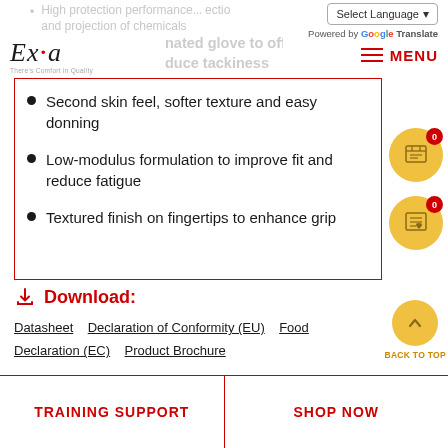High protection performance... and projection of chemicals
[Figure (screenshot): Language selector dropdown with 'Select Language' and Google Translate branding]
[Figure (logo): Excia logo with tagline 'There's Comfort in Quality']
...rinated glove to offer more comfort and to reduce tackiness
Second skin feel, softer texture and easy donning
Low-modulus formulation to improve fit and reduce fatigue
Textured finish on fingertips to enhance grip
Download: Datasheet   Declaration of Conformity (EU)   Food Declaration (EC)   Product Brochure
BACK TO TOP
TRAINING SUPPORT
SHOP NOW